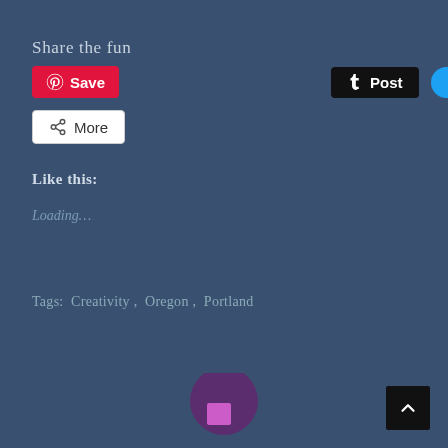Share the fun
[Figure (screenshot): Social sharing buttons: Pinterest Save (red), Tumblr Post (black), Twitter Tweet (blue), and a More button (white with share icon)]
Like this:
Loading...
Tags:  Creativity ,  Oregon ,  Portland
[Figure (illustration): Partial view of a stylized avatar/character figure with purple and magenta tones at the bottom of the page]
[Figure (other): Back to top button - dark square with upward chevron arrow in bottom right corner]